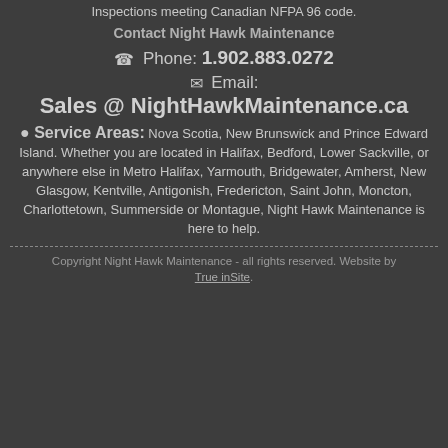Inspections meeting Canadian NFPA 96 code.
Contact Night Hawk Maintenance
Phone: 1.902.883.0272
Email: Sales @ NightHawkMaintenance.ca
Service Areas: Nova Scotia, New Brunswick and Prince Edward Island. Whether you are located in Halifax, Bedford, Lower Sackville, or anywhere else in Metro Halifax, Yarmouth, Bridgewater, Amherst, New Glasgow, Kentville, Antigonish, Fredericton, Saint John, Moncton, Charlottetown, Summerside or Montague, Night Hawk Maintenance is here to help.
Copyright Night Hawk Maintenance - all rights reserved. Website by True inSite.